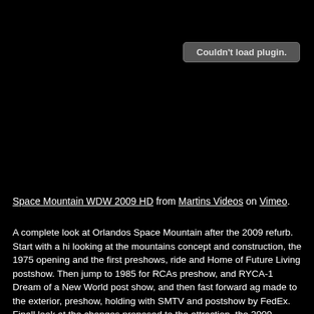[Figure (screenshot): Black video embed area with 'Couldn't load plugin.' message in a gray rounded rectangle button]
Space Mountain WDW 2009 HD from Martins Videos on Vimeo.
A complete look at Orlandos Space Mountain after the 2009 refurb. Start with a hi looking at the mountains concept and construction, the 1975 opening and the first preshows, ride and Home of Future Living postshow. Then jump to 1985 for RCAs preshow, and RYCA-1 Dream of a New World post show, and then fast forward ag made to the exterior, preshow, holding with SMTV and postshow by FedEx. Finall look at the changes proposed to the attraction, the 2009 demolition and constructi Mountain, the Skyway terminal, Galaxy Palace and the new stage, and then see w outside and in when the attraction reopened. See the new plaza area, exterior, the source/live audio tour of all the details of the whole preshow tunnel, holding and lo the unload and postshow area. Also take a trip on the TTA during and after the ref